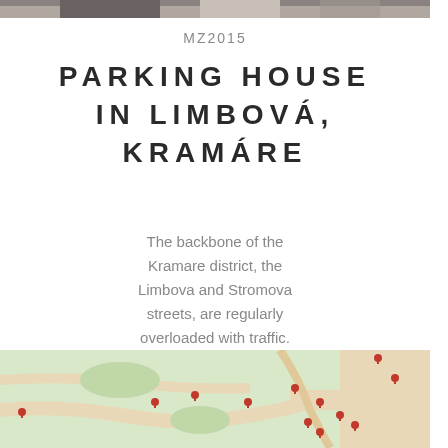[Figure (photo): Top portion of a black and white photo, partially cropped at top of page]
MZ2015
PARKING HOUSE IN LIMBOVÁ, KRAMÁRE
The backbone of the Kramare district, the Limbova and Stromova streets, are regularly overloaded with traffic. The combination of traffic lights, pedestrian...
[Figure (map): A map showing green areas with red location pin markers indicating points around Limbová and Kramáre streets]